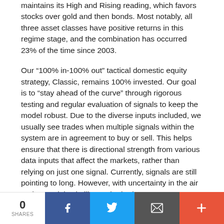maintains its High and Rising reading, which favors stocks over gold and then bonds. Most notably, all three asset classes have positive returns in this regime stage, and the combination has occurred 23% of the time since 2003.
Our “100% in-100% out” tactical domestic equity strategy, Classic, remains 100% invested. Our goal is to “stay ahead of the curve” through rigorous testing and regular evaluation of signals to keep the model robust. Due to the diverse inputs included, we usually see trades when multiple signals within the system are in agreement to buy or sell. This helps ensure that there is directional strength from various data inputs that affect the markets, rather than relying on just one signal. Currently, signals are still pointing to long. However, with uncertainty in the air and potential volatility on the horizon, we are keeping a close eye on what Classic is telling us.
Our intermediate-term tactical strategies remain mixed:
0 SHARES | Facebook | Twitter | Email | More